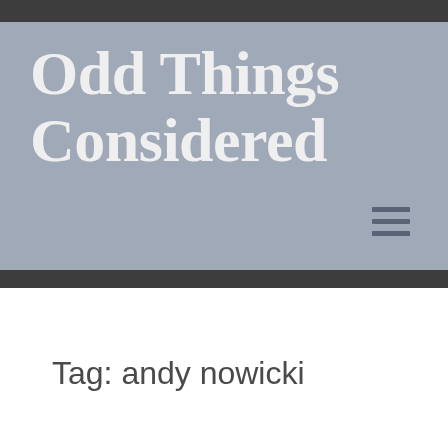Odd Things Considered
Tag: andy nowicki